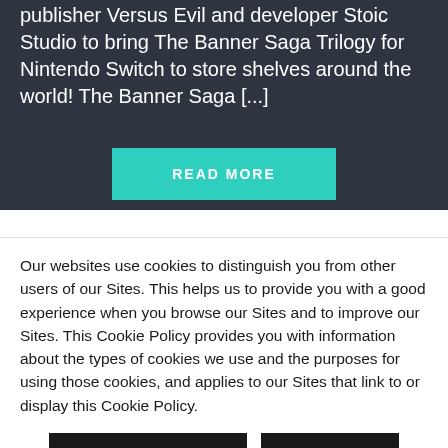publisher Versus Evil and developer Stoic Studio to bring The Banner Saga Trilogy for Nintendo Switch to store shelves around the world! The Banner Saga [...]
READ MORE
Our websites use cookies to distinguish you from other users of our Sites. This helps us to provide you with a good experience when you browse our Sites and to improve our Sites. This Cookie Policy provides you with information about the types of cookies we use and the purposes for using those cookies, and applies to our Sites that link to or display this Cookie Policy.
COOKIE SETTINGS
ACCEPT